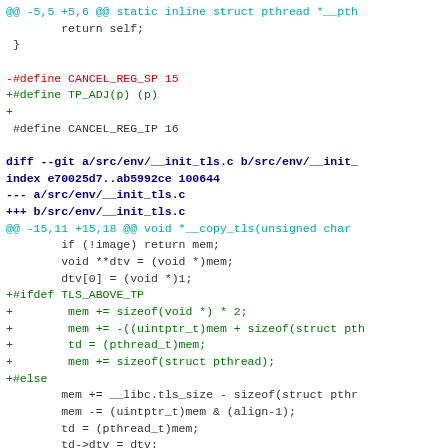diff hunk code showing changes to pthread and __init_tls.c files including CANCEL_REG_SP removal, TP_ADJ addition, and TLS_ABOVE_TP ifdef block